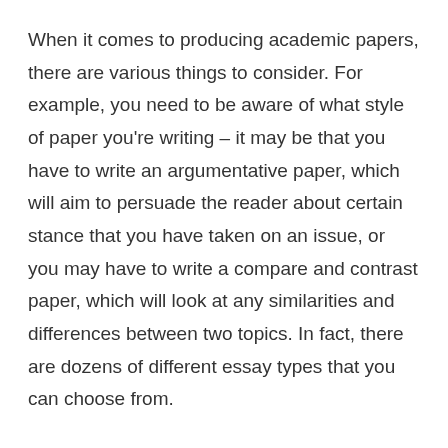When it comes to producing academic papers, there are various things to consider. For example, you need to be aware of what style of paper you're writing – it may be that you have to write an argumentative paper, which will aim to persuade the reader about certain stance that you have taken on an issue, or you may have to write a compare and contrast paper, which will look at any similarities and differences between two topics. In fact, there are dozens of different essay types that you can choose from.
As well as the different styles of essay, there are different styles of formatting that you need to be aware of as well. In fact, if you are writing an essay